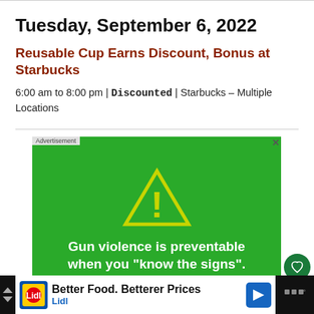Tuesday, September 6, 2022
Reusable Cup Earns Discount, Bonus at Starbucks
6:00 am to 8:00 pm | Discounted | Starbucks – Multiple Locations
[Figure (screenshot): Green advertisement banner with a yellow warning triangle (exclamation mark inside) and white bold text reading: Gun violence is preventable when you "know the signs".]
Better Food. Betterer Prices Lidl